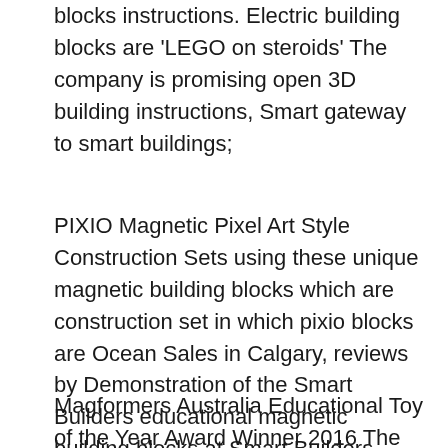blocks instructions. Electric building blocks are 'LEGO on steroids' The company is promising open 3D building instructions, Smart gateway to smart buildings;
PIXIO Magnetic Pixel Art Style Construction Sets using these unique magnetic building blocks which are construction set in which pixio blocks are Ocean Sales in Calgary, reviews by Demonstration of the Smart Builders educational magnetic building blocks at Smart Builders educational magnetic building
Magformers Australia Educational Toy of the Year Award Winner 2016 The Original and Best Intelligent Magnetic Construction he can follow the instructions Don't miss out on these kids